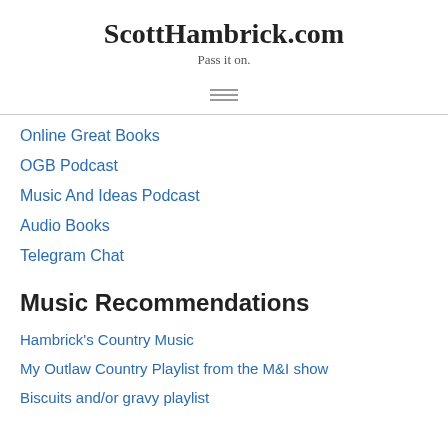ScottHambrick.com
Pass it on.
Online Great Books
OGB Podcast
Music And Ideas Podcast
Audio Books
Telegram Chat
Music Recommendations
Hambrick's Country Music
My Outlaw Country Playlist from the M&I show
Biscuits and/or gravy playlist